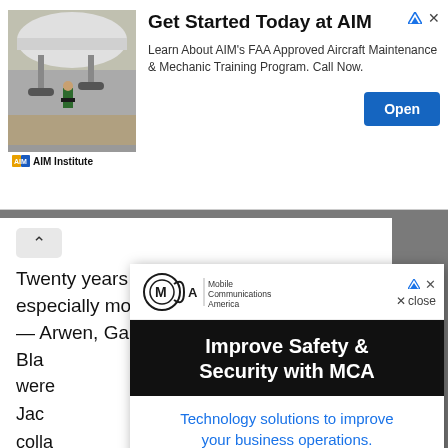[Figure (infographic): Top banner advertisement for AIM Institute showing an aircraft maintenance photo on the left, logo and institute name below, bold headline 'Get Started Today at AIM', body text about FAA Approved Aircraft Maintenance & Mechanic Training Program, and a blue 'Open' button on the right.]
Twenty years later, McCurdy remains especially moved by the female characters — Arwen, Galadriel (Cate Bla... were... Peter Jac... colla...
[Figure (infographic): Popup advertisement for MCA (Mobile Communications America). Contains MCA logo at top, 'X close' button, black banner reading 'Improve Safety & Security with MCA', blue subheading 'Technology solutions to improve your business operations.', security-themed photo with two people, and a teal 'Learn More' button.]